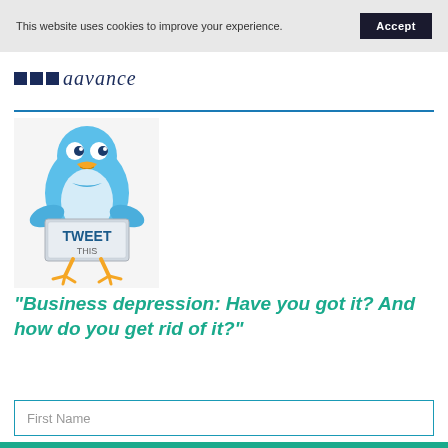This website uses cookies to improve your experience.  Accept
aavance
[Figure (illustration): Blue cartoon Twitter bird holding a sign that reads TWEET THIS]
“Business depression: Have you got it? And how do you get rid of it?”
First Name